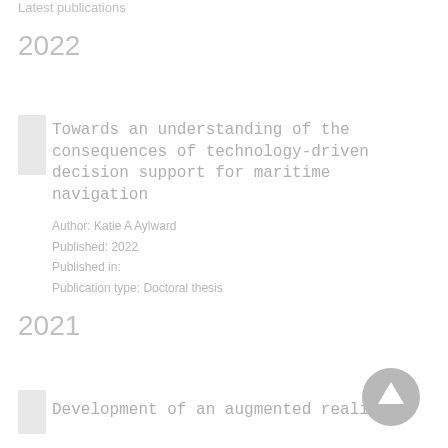Latest publications
2022
Towards an understanding of the consequences of technology-driven decision support for maritime navigation
Author: Katie A Aylward
Published: 2022
Published in:
Publication type: Doctoral thesis
2021
Development of an augmented reality